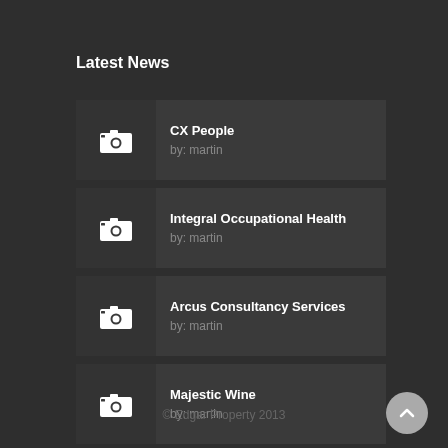Latest News
CX People by: martin
Integral Occupational Health by: martin
Arcus Consultancy Services by: martin
Majestic Wine by: martin
Gamma by: martin
© Edgar Property 2013